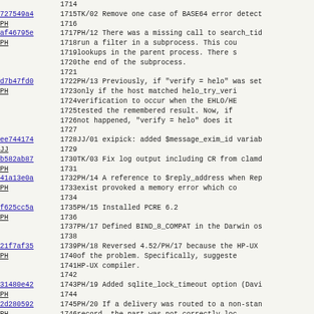| hash | line | text |
| --- | --- | --- |
|  | 1714 |  |
| 727549a4 | 1715 | TK/02 Remove one case of BASE64 error detect |
| PH | 1716 |  |
| af46795e | 1717 | PH/12 There was a missing call to search_tid |
| PH | 1718 |       run a filter in a subprocess. This cou |
|  | 1719 |       lookups in the parent process. There s |
|  | 1720 |       the end of the subprocess. |
|  | 1721 |  |
| d7b47fd0 | 1722 | PH/13 Previously, if "verify = helo" was set |
| PH | 1723 |       only if the host matched helo_try_veri |
|  | 1724 |       verification to occur when the EHLO/HE |
|  | 1725 |       tested the remembered result. Now, if |
|  | 1726 |       not happened, "verify = helo" does it |
|  | 1727 |  |
| ee744174 | 1728 | JJ/01 exipick: added $message_exim_id variab |
| JJ | 1729 |  |
| b582ab87 | 1730 | TK/03 Fix log output including CR from clamd |
| PH | 1731 |  |
| 41a13e0a | 1732 | PH/14 A reference to $reply_address when Rep |
| PH | 1733 |       exist provoked a memory error which co |
|  | 1734 |  |
| f625cc5a | 1735 | PH/15 Installed PCRE 6.2 |
| PH | 1736 |  |
|  | 1737 | PH/17 Defined BIND_8_COMPAT in the Darwin os |
|  | 1738 |  |
| 21f7af35 | 1739 | PH/18 Reversed 4.52/PH/17 because the HP-UX |
| PH | 1740 |       of the problem. Specifically, suggeste |
|  | 1741 |       HP-UX compiler. |
|  | 1742 |  |
| 31480e42 | 1743 | PH/19 Added sqlite_lock_timeout option (Davi |
| PH | 1744 |  |
| 2d280592 | 1745 | PH/20 If a delivery was routed to a non-stan |
| PH | 1746 |       record, the part was not correctly loc |